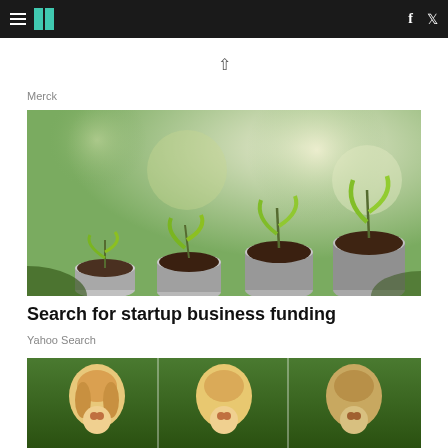HuffPost navigation bar with hamburger menu, logo, Facebook and Twitter icons
^
Merck
[Figure (photo): Photo of four stacks of coins of increasing height, each topped with a small green seedling plant growing from soil, against a blurred green bokeh background]
Search for startup business funding
Yahoo Search
[Figure (photo): Partial photo strip showing three women with blonde hair outdoors]